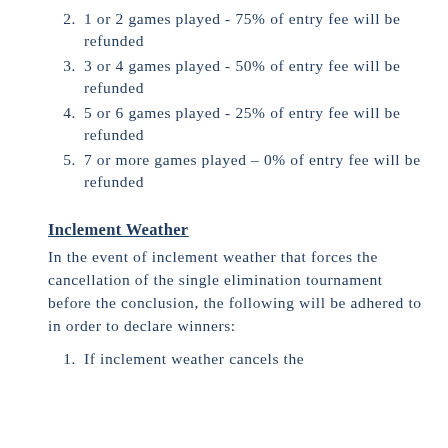2. 1 or 2 games played - 75% of entry fee will be refunded
3. 3 or 4 games played - 50% of entry fee will be refunded
4. 5 or 6 games played - 25% of entry fee will be refunded
5. 7 or more games played – 0% of entry fee will be refunded
Inclement Weather
In the event of inclement weather that forces the cancellation of the single elimination tournament before the conclusion, the following will be adhered to in order to declare winners:
1. If inclement weather cancels the